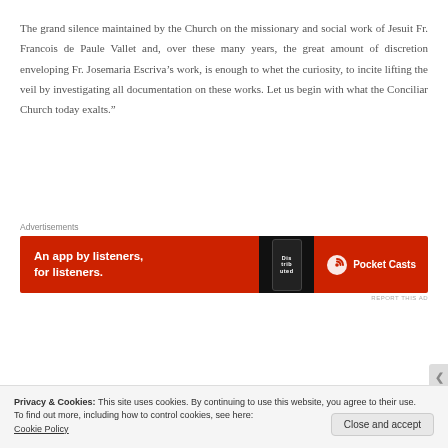The grand silence maintained by the Church on the missionary and social work of Jesuit Fr. Francois de Paule Vallet and, over these many years, the great amount of discretion enveloping Fr. Josemaria Escriva’s work, is enough to whet the curiosity, to incite lifting the veil by investigating all documentation on these works. Let us begin with what the Conciliar Church today exalts.”
Advertisements
[Figure (other): Red advertisement banner for Pocket Casts app reading 'An app by listeners, for listeners.' with phone image and Pocket Casts logo]
Privacy & Cookies: This site uses cookies. By continuing to use this website, you agree to their use.
To find out more, including how to control cookies, see here:
Cookie Policy